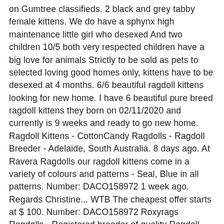on Gumtree classifieds. 2 black and grey tabby female kittens. We do have a sphynx high maintenance little girl who desexed And two children 10/5 both very respected children have a big love for animals Strictly to be sold as pets to selected loving good homes only, kittens have to be desexed at 4 months. 6/6 beautiful ragdoll kittens looking for new home. I have 6 beautiful pure breed ragdoll kittens they born on 02/11/2020 and currently is 9 weeks and ready to go new home. Ragdoll Kittens - CottonCandy Ragdolls - Ragdoll Breeder - Adelaide, South Australia. 8 days ago. At Ravera Ragdolls our ragdoll kittens come in a variety of colours and patterns - Seal, Blue in all patterns. Number: DACO158972 1 week ago. Regards Christine... WTB The cheapest offer starts at $ 100. Number: DACO158972 Roxyrags Ragdolls - Registered breeder of quality Ragdoll cats. As an owner, you will have peace of mind your cat is only moments away from a ... They must be adopted together to live in their forever home.They are both Seal Bicolour Ragdolls, Guinevere is 6 years old and Khalessi is 4 years old. Vaccinated Ragdolls. Men Do tells Who bered these Holders to hold